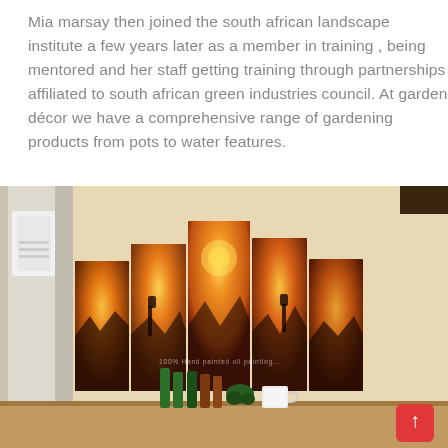Mia marsay then joined the south african landscape institute a few years later as a member in training , being mentored and her staff getting training through partnerships affiliated to south african green industries council. At garden décor we have a comprehensive range of gardening products from pots to water features.
[Figure (photo): Interior room photo showing a five-panel African savanna wall art with giraffes at sunset, mounted on a cream/beige wall. Below the painting is a counter with green bottles, a mug, and a plant. Air conditioning unit visible on left wall.]